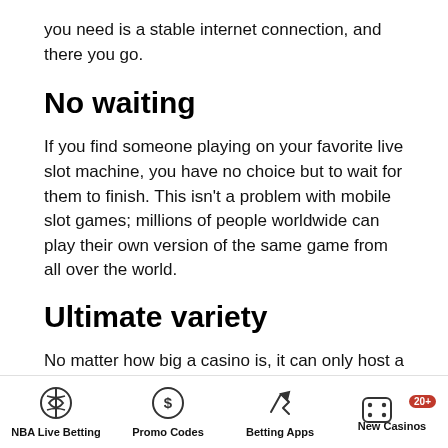you need is a stable internet connection, and there you go.
No waiting
If you find someone playing on your favorite live slot machine, you have no choice but to wait for them to finish. This isn't a problem with mobile slot games; millions of people worldwide can play their own version of the same game from all over the world.
Ultimate variety
No matter how big a casino is, it can only host a limited number of slot machines. This is not the case when it comes to slot games on your phone. Apps can have
NBA Live Betting | Promo Codes | Betting Apps | New Casinos 20+